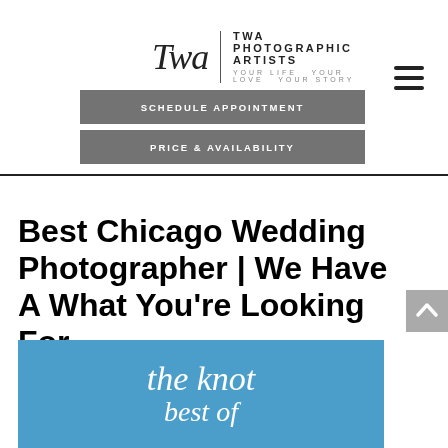[Figure (logo): TWA Photographic Artists logo with script 'Twa' handwriting, vertical divider line, company name 'TWA PHOTOGRAPHIC ARTISTS' in uppercase, tagline 'YOUR LIFE. YOUR LOVE. YOUR STORY' below]
[Figure (other): Hamburger menu icon (three horizontal bars) in top right]
SCHEDULE APPOINTMENT
PRICE & AVAILABILITY
Best Chicago Wedding Photographer | We Have A What You're Looking For
[Figure (other): Scroll-to-top button with upward chevron arrow on gray background]
[Figure (other): The Knot 'best of' badge/award image on blue background showing 'the knot best of' in white italic script text]